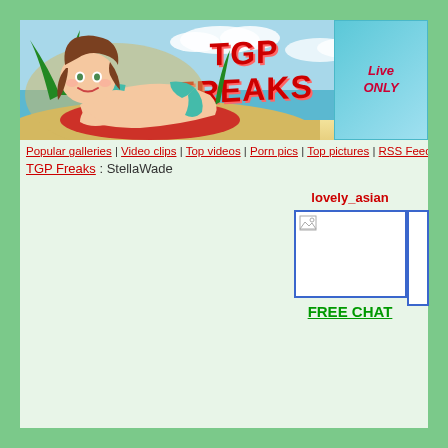[Figure (illustration): TGP Freaks website header banner with cartoon illustration of a woman in a bikini lying on a beach, with 'TGP FREAKS' logo text and a partial advertisement box on the right showing 'Live' and 'ONLY' text]
Popular galleries | Video clips | Top videos | Porn pics | Top pictures | RSS Feeds
TGP Freaks : StellaWade
lovely_asian
[Figure (photo): Webcam preview thumbnail image placeholder]
FREE CHAT